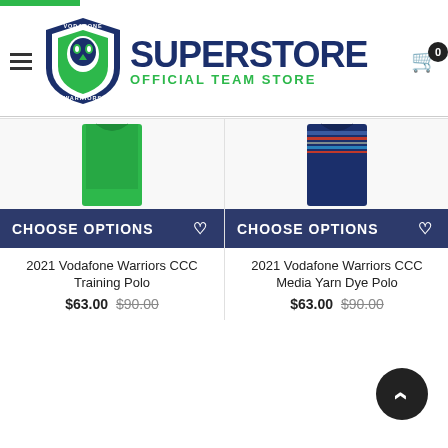[Figure (logo): Vodafone Warriors Superstore Official Team Store logo with shield emblem]
[Figure (photo): 2021 Vodafone Warriors CCC Training Polo - green polo shirt]
CHOOSE OPTIONS
2021 Vodafone Warriors CCC Training Polo
$63.00 $90.00
[Figure (photo): 2021 Vodafone Warriors CCC Media Yarn Dye Polo - blue striped polo shirt]
CHOOSE OPTIONS
2021 Vodafone Warriors CCC Media Yarn Dye Polo
$63.00 $90.00